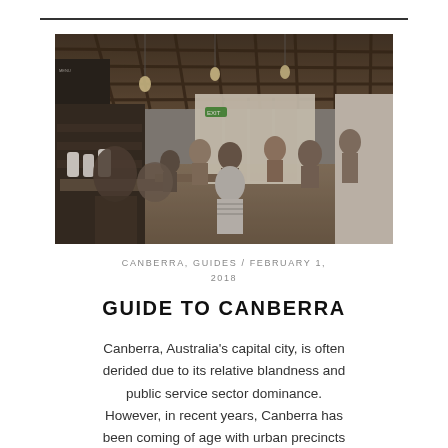[Figure (photo): Interior of a busy café/restaurant with wooden ceiling lattice, pendant lights, a counter on the left with display cases, and patrons seated at long tables. Natural light floods from windows at the far end.]
CANBERRA, GUIDES / FEBRUARY 1, 2018
GUIDE TO CANBERRA
Canberra, Australia's capital city, is often derided due to its relative blandness and public service sector dominance. However, in recent years, Canberra has been coming of age with urban precincts